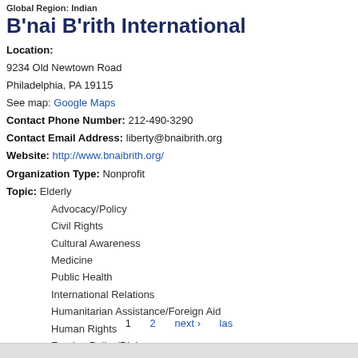Global Region: Indian
B'nai B'rith International
Location:
9234 Old Newtown Road
Philadelphia, PA 19115
See map: Google Maps
Contact Phone Number: 212-490-3290
Contact Email Address: liberty@bnaibrith.org
Website: http://www.bnaibrith.org/
Organization Type: Nonprofit
Topic: Elderly
Advocacy/Policy
Civil Rights
Cultural Awareness
Medicine
Public Health
International Relations
Humanitarian Assistance/Foreign Aid
Human Rights
Foreign Policy/Diplomacy
Global Region: Israeli
1  2  next ›  las